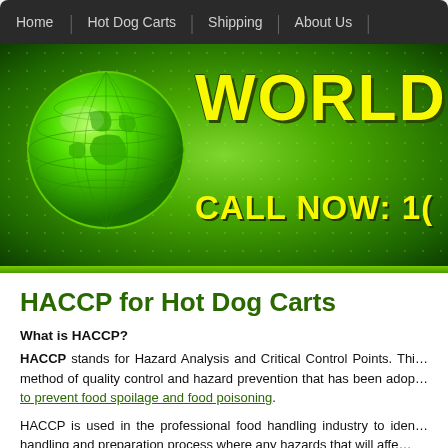Home | Hot Dog Carts | Shipping | About Us |
[Figure (illustration): Green banner with globe graphic on the left and large yellow bold text 'WORLDS BEST' and 'CALL NOW: 1(' on green background]
HACCP for Hot Dog Carts
What is HACCP?
HACCP stands for Hazard Analysis and Critical Control Points. This method of quality control and hazard prevention that has been adopted to prevent food spoilage and food poisoning.
HACCP is used in the professional food handling industry to identify handling and preparation process where any hazards that will affect